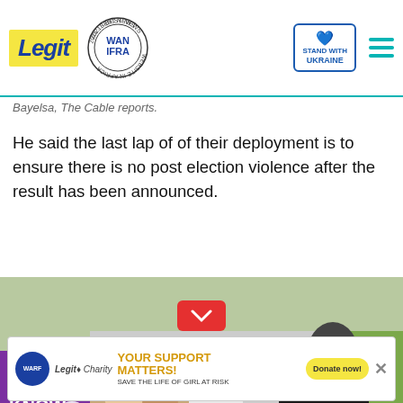Legit — WAN IFRA 2021 Best News Website in Africa — Stand with Ukraine
Bayelsa, The Cable reports.
He said the last lap of of their deployment is to ensure there is no post election violence after the result has been announced.
[Figure (photo): Photo of a person in dark clothing and military gear, bent forward, with red band on arm. Background shows outdoor area with grass, gravel, and structures.]
[Figure (other): Video ad overlay with purple background, text DIDN'T KNOW HOW TO LOVE, showing two people and a play button.]
[Figure (other): Bottom advertisement banner: YOUR SUPPORT MATTERS! SAVE THE LIFE OF GIRL AT RISK, Legit Charity, Donate now! button.]